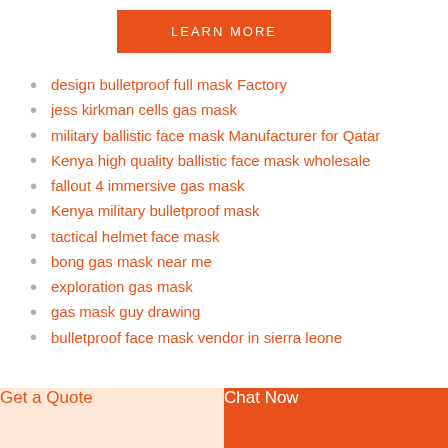[Figure (other): Orange 'LEARN MORE' button at the top center of the page]
design bulletproof full mask Factory
jess kirkman cells gas mask
military ballistic face mask Manufacturer for Qatar
Kenya high quality ballistic face mask wholesale
fallout 4 immersive gas mask
Kenya military bulletproof mask
tactical helmet face mask
bong gas mask near me
exploration gas mask
gas mask guy drawing
bulletproof face mask vendor in sierra leone
Get a Quote   Chat Now